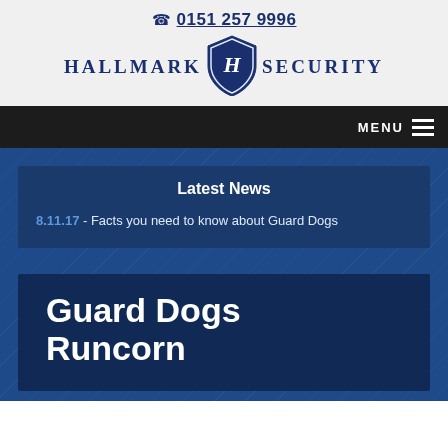📞 0151 257 9996 — Hallmark Security logo
MENU ☰
Latest News
8.11.17 - Facts you need to know about Guard Dogs
Guard Dogs Runcorn